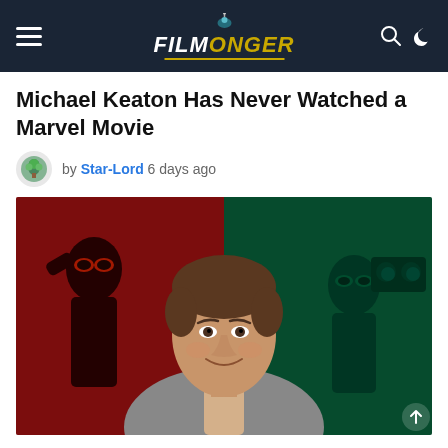Filmonger navigation header
Michael Keaton Has Never Watched a Marvel Movie
by Star-Lord  6 days ago
[Figure (photo): Hero image showing a man (Ryan Reynolds) smiling at the camera, with a composite background showing Deadpool characters on red (left) and green (right) backgrounds, with a scroll-to-top arrow in the bottom right corner.]